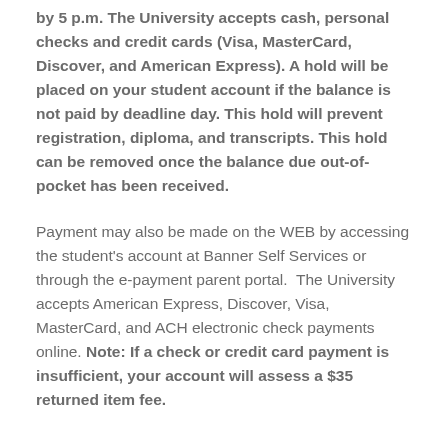by 5 p.m. The University accepts cash, personal checks and credit cards (Visa, MasterCard, Discover, and American Express). A hold will be placed on your student account if the balance is not paid by deadline day. This hold will prevent registration, diploma, and transcripts. This hold can be removed once the balance due out-of-pocket has been received.
Payment may also be made on the WEB by accessing the student's account at Banner Self Services or through the e-payment parent portal. The University accepts American Express, Discover, Visa, MasterCard, and ACH electronic check payments online. Note: If a check or credit card payment is insufficient, your account will assess a $35 returned item fee.